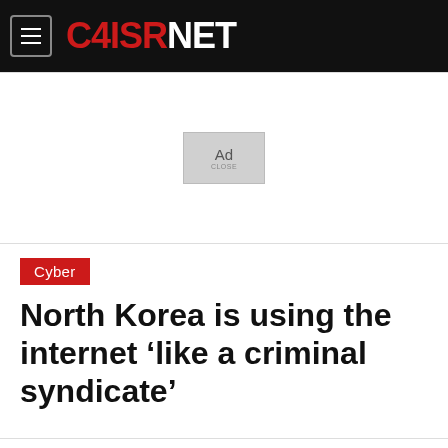C4ISRNET
[Figure (other): Ad placeholder box with text 'Ad']
Cyber
North Korea is using the internet ‘like a criminal syndicate’